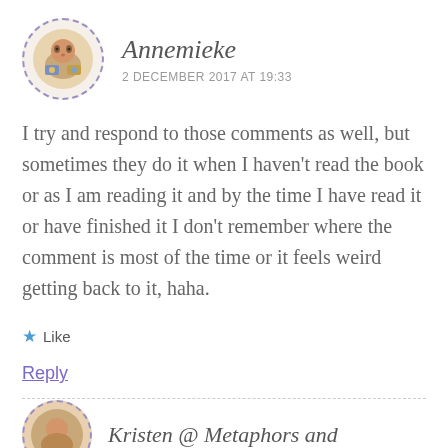Annemieke
2 DECEMBER 2017 AT 19:33
I try and respond to those comments as well, but sometimes they do it when I haven't read the book or as I am reading it and by the time I have read it or have finished it I don't remember where the comment is most of the time or it feels weird getting back to it, haha.
★ Like
Reply
Kristen @ Metaphors and